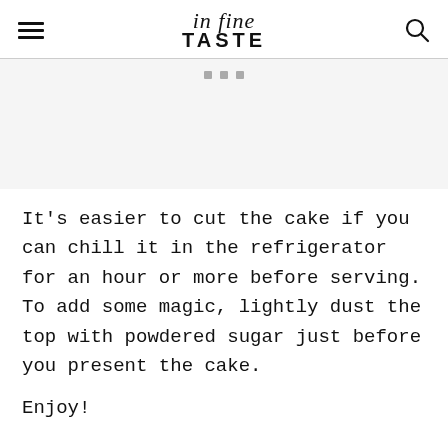in fine TASTE
It's easier to cut the cake if you can chill it in the refrigerator for an hour or more before serving. To add some magic, lightly dust the top with powdered sugar just before you present the cake.
Enjoy!